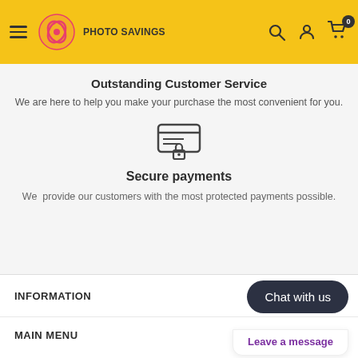Photo Savings - header navigation
Outstanding Customer Service
We are here to help you make your purchase the most convenient for you.
[Figure (illustration): Secure payment icon - credit card with lock symbol]
Secure payments
We provide our customers with the most protected payments possible.
INFORMATION
MAIN MENU
Chat with us
Leave a message